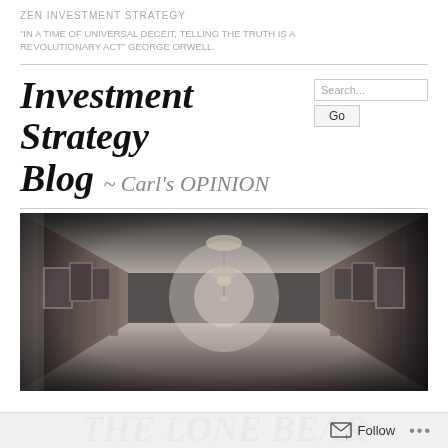ZEN INVESTMENT STRATEGY
“IN A TIME OF UNIVERSAL DECEIT, TELLING THE TRUTH IS A REVOLUTIONARY ACT” GEORGE ORWELL.
Investment Strategy Blog ~ Carl's OPINION
[Figure (photo): Black and white photograph of an ornate hallway with arched ceilings, chandeliers, decorative columns, framed paintings on walls, and a perspective leading into the distance.]
THE LONE BEAR LETTER #8